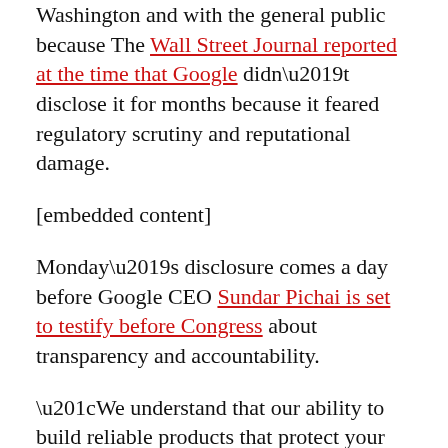Washington and with the general public because The Wall Street Journal reported at the time that Google didn't disclose it for months because it feared regulatory scrutiny and reputational damage.
[embedded content]
Monday's disclosure comes a day before Google CEO Sundar Pichai is set to testify before Congress about transparency and accountability.
“We understand that our ability to build reliable products that protect your data drives user trust,” Google’s blog post said.
“We have always taken this seriously, and we continue to invest in our privacy programs to